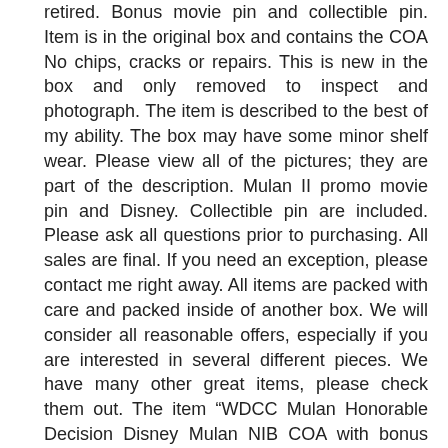retired. Bonus movie pin and collectible pin. Item is in the original box and contains the COA No chips, cracks or repairs. This is new in the box and only removed to inspect and photograph. The item is described to the best of my ability. The box may have some minor shelf wear. Please view all of the pictures; they are part of the description. Mulan II promo movie pin and Disney. Collectible pin are included. Please ask all questions prior to purchasing. All sales are final. If you need an exception, please contact me right away. All items are packed with care and packed inside of another box. We will consider all reasonable offers, especially if you are interested in several different pieces. We have many other great items, please check them out. The item “WDCC Mulan Honorable Decision Disney Mulan NIB COA with bonus pins & Free Ship” is in sale since Friday, March 29, 2019. This item is in the category “Collectibles\Disneyana\Contemporary (1968-Now)\Figurines\WDCC”. The seller is “thingamabobs4u” and is located in Ponte Vedra, Florida. This item can be shipped to United States, United Kingdom, Denmark, Romania, Slovakia, Bulgaria, Czech republic, Finland, Hungary, Latvia, Lithuania, Malta, Estonia, Australia, Greece, Portugal, Cyprus, Slovenia, Japan, China, Sweden, South Korea, Indonesia, Taiwan, Thailand, Belgium, France, Hong Kong, Ireland, Netherlands,